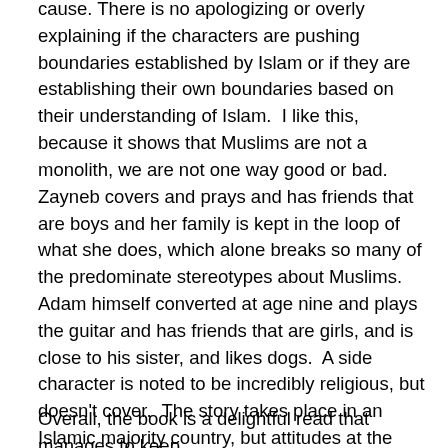cause. There is no apologizing or overly explaining if the characters are pushing boundaries established by Islam or if they are establishing their own boundaries based on their understanding of Islam.  I like this, because it shows that Muslims are not a monolith, we are not one way good or bad.  Zayneb covers and prays and has friends that are boys and her family is kept in the loop of what she does, which alone breaks so many of the predominate stereotypes about Muslims.  Adam himself converted at age nine and plays the guitar and has friends that are girls, and is close to his sister, and likes dogs.  A side character is noted to be incredibly religious, but doesn't cover.  The story takes place in an Islamic majority country, but attitudes at the swimming pool don't allow Zayneb to dress modestly while she swims.
Overall, the book is a delightful read that manages to keep